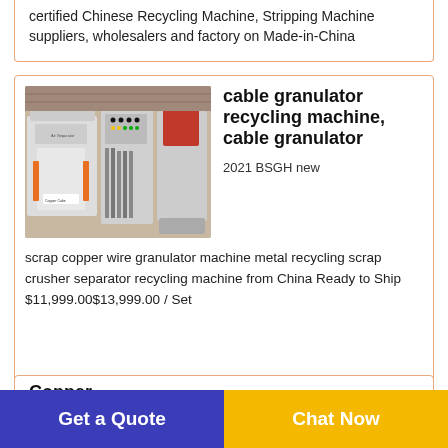certified Chinese Recycling Machine, Stripping Machine suppliers, wholesalers and factory on Made-in-China
[Figure (photo): Industrial cable granulator recycling machine with air separator unit, control panel cabinet, and shredder components in a factory setting.]
cable granulator recycling machine, cable granulator
2021 BSGH new scrap copper wire granulator machine metal recycling scrap crusher separator recycling machine from China Ready to Ship $11,999.00$13,999.00 / Set
Copper
Get a Quote
Chat Now